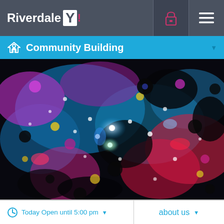Riverdale Y!
Community Building
[Figure (photo): Abstract colorful painting with circles and splashes of color including blue, pink, red, black, and white on a dark background, resembling a cosmic or floral abstract artwork]
Today Open until 5:00 pm
about us